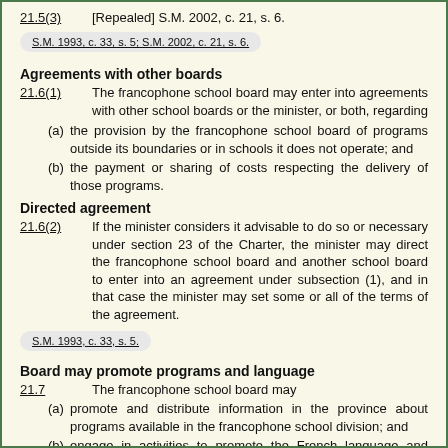21.5(3)   [Repealed] S.M. 2002, c. 21, s. 6.
S.M. 1993, c. 33, s. 5; S.M. 2002, c. 21, s. 6.
Agreements with other boards
21.6(1)   The francophone school board may enter into agreements with other school boards or the minister, or both, regarding
(a) the provision by the francophone school board of programs outside its boundaries or in schools it does not operate; and
(b) the payment or sharing of costs respecting the delivery of those programs.
Directed agreement
21.6(2)   If the minister considers it advisable to do so or necessary under section 23 of the Charter, the minister may direct the francophone school board and another school board to enter into an agreement under subsection (1), and in that case the minister may set some or all of the terms of the agreement.
S.M. 1993, c. 33, s. 5.
Board may promote programs and language
21.7   The francophone school board may
(a) promote and distribute information in the province about programs available in the francophone school division; and
(b) engage in activities to promote the French language and culture